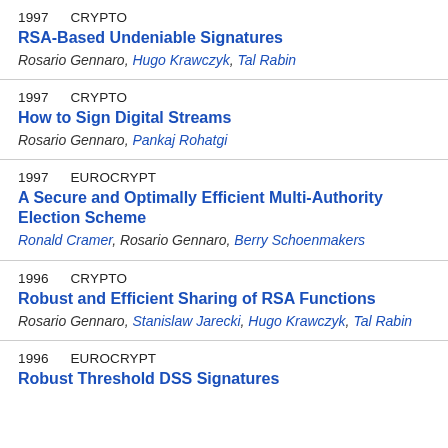1997   CRYPTO
RSA-Based Undeniable Signatures
Rosario Gennaro, Hugo Krawczyk, Tal Rabin
1997   CRYPTO
How to Sign Digital Streams
Rosario Gennaro, Pankaj Rohatgi
1997   EUROCRYPT
A Secure and Optimally Efficient Multi-Authority Election Scheme
Ronald Cramer, Rosario Gennaro, Berry Schoenmakers
1996   CRYPTO
Robust and Efficient Sharing of RSA Functions
Rosario Gennaro, Stanislaw Jarecki, Hugo Krawczyk, Tal Rabin
1996   EUROCRYPT
Robust Threshold DSS Signatures